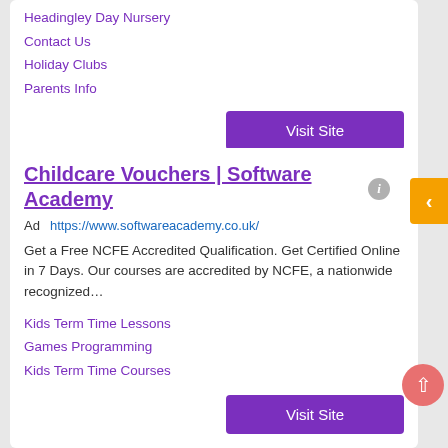Headingley Day Nursery
Contact Us
Holiday Clubs
Parents Info
Visit Site
Childcare Vouchers | Software Academy
Ad  https://www.softwareacademy.co.uk/
Get a Free NCFE Accredited Qualification. Get Certified Online in 7 Days. Our courses are accredited by NCFE, a nationwide recognized…
Kids Term Time Lessons
Games Programming
Kids Term Time Courses
Visit Site